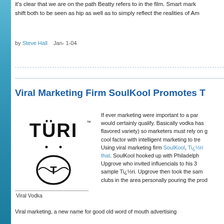it's clear that we are on the path Beatty refers to in the film. Smart markers shift both to be seen as hip as well as to simply reflect the realities of Am...
by Steve Hall   Jan- 1-04
Viral Marketing Firm SoulKool Promotes T...
[Figure (logo): TURI vodka logo - text TURI with umlaut over U, and a circular emblem with a T]
Viral Vodka
If ever marketing were important to a par... would certainly qualify. Basically vodka has... flavored variety) so marketers must rely on g... cool factor with intelligent marketing to tre... Using viral marketing firm SoulKool, Ti¿½ri... that. SoulKool hooked up with Philadelphia... Upgrove who invited influencials to his 3... sample Ti¿½ri. Upgrove then took the samp... clubs in the area personally pouring the produ...
Viral marketing, a new name for good old word of mouth advertising...